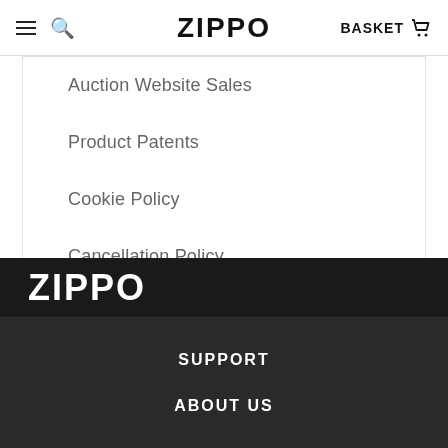ZIPPO  BASKET
Auction Website Sales
Product Patents
Cookie Policy
Cancellation Policy
[Figure (logo): ZIPPO logo in white on dark background footer]
SUPPORT  ABOUT US